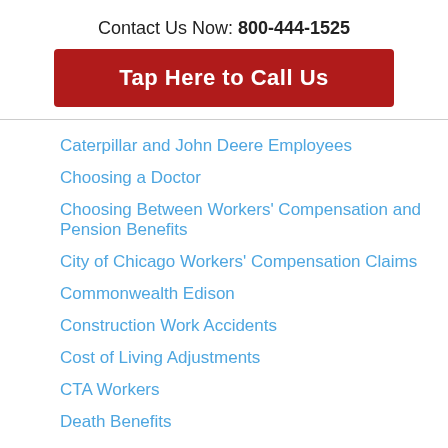Contact Us Now: 800-444-1525
Tap Here to Call Us
Caterpillar and John Deere Employees
Choosing a Doctor
Choosing Between Workers' Compensation and Pension Benefits
City of Chicago Workers' Compensation Claims
Commonwealth Edison
Construction Work Accidents
Cost of Living Adjustments
CTA Workers
Death Benefits